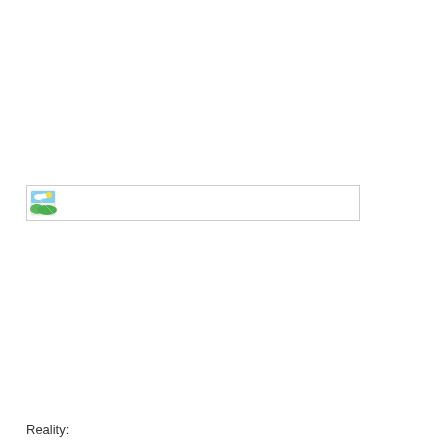[Figure (other): A broken/missing image placeholder shown as a wide thin rectangle with a small broken image icon on the left side]
Reality: